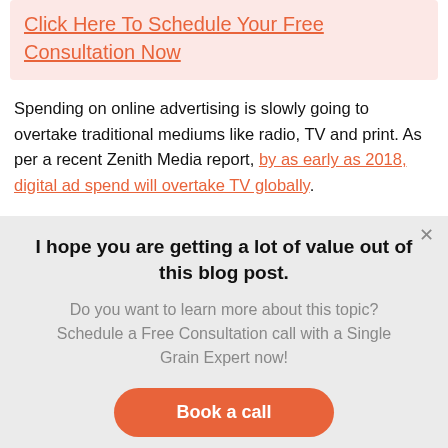Click Here To Schedule Your Free Consultation Now
Spending on online advertising is slowly going to overtake traditional mediums like radio, TV and print. As per a recent Zenith Media report, by as early as 2018, digital ad spend will overtake TV globally.
I hope you are getting a lot of value out of this blog post.
Do you want to learn more about this topic? Schedule a Free Consultation call with a Single Grain Expert now!
Book a call